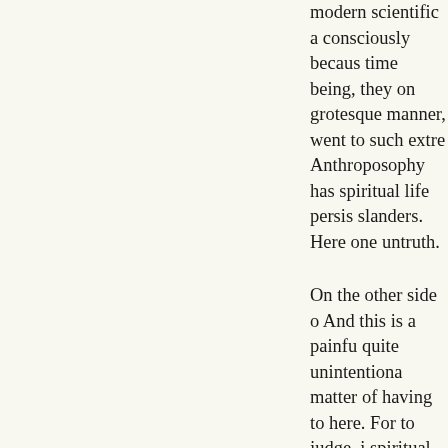modern scientific a consciously becaus time being, they on grotesque manner, went to such extre Anthroposophy has spiritual life persis slanders. Here one untruth.
On the other side o And this is a painfu quite unintentiona matter of having to here. For to judge, i spiritual science, w declare spiritual sc the fact that precis